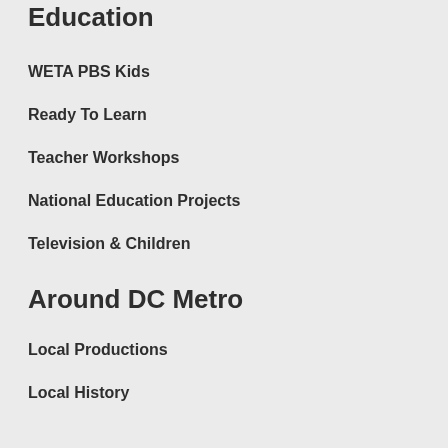Education
WETA PBS Kids
Ready To Learn
Teacher Workshops
National Education Projects
Television & Children
Around DC Metro
Local Productions
Local History
Neighborhood Guide
Giveaways
Other WETA Sites
Boundary Stones